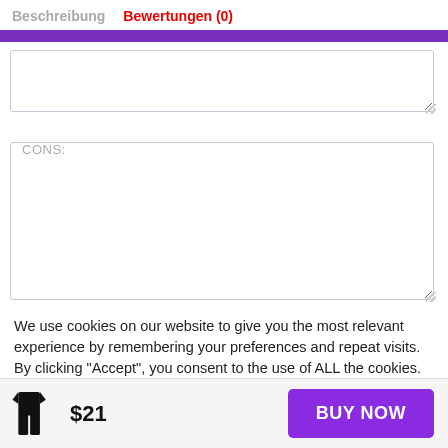Beschreibung  Bewertungen (0)
[Figure (screenshot): Two empty form text input boxes: an upper box (partially visible, no label) and a lower box labeled 'CONS:']
We use cookies on our website to give you the most relevant experience by remembering your preferences and repeat visits. By clicking “Accept”, you consent to the use of ALL the cookies.
$21  BUY NOW